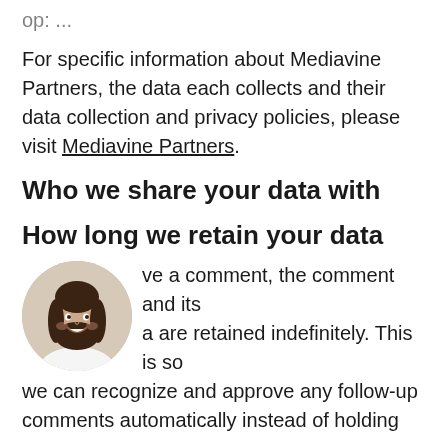op: ...
For specific information about Mediavine Partners, the data each collects and their data collection and privacy policies, please visit Mediavine Partners.
Who we share your data with
How long we retain your data
ve a comment, the comment and its a are retained indefinitely. This is so we can recognize and approve any follow-up comments automatically instead of holding them...
[Figure (photo): Circular avatar photo of a smiling woman with long dark hair, wearing a white top.]